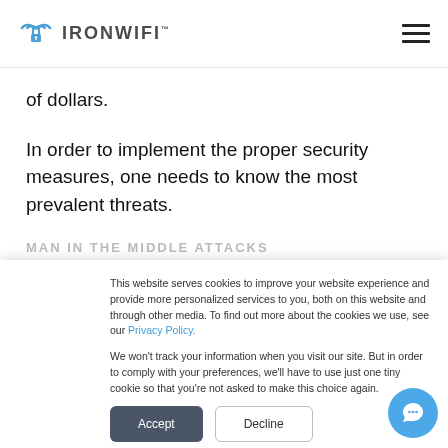IronWifi (logo + navigation)
of dollars.
In order to implement the proper security measures, one needs to know the most prevalent threats.
MAN IN THE MIDDLE ATTACKS (partially visible)
This website serves cookies to improve your website experience and provide more personalized services to you, both on this website and through other media. To find out more about the cookies we use, see our Privacy Policy.

We won't track your information when you visit our site. But in order to comply with your preferences, we'll have to use just one tiny cookie so that you're not asked to make this choice again.